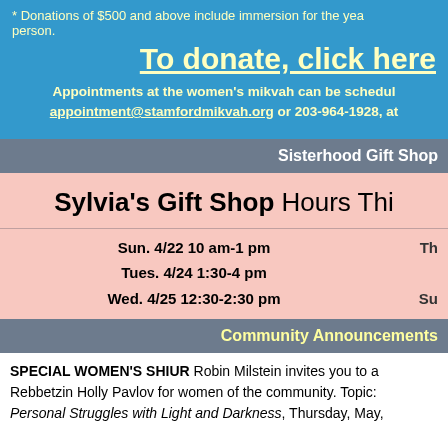* Donations of $500 and above include immersion for the year per person.
To donate, click here
Appointments at the women's mikvah can be scheduled appointment@stamfordmikvah.org or 203-964-1928, at
Sisterhood Gift Shop
Sylvia's Gift Shop Hours Thi
Sun. 4/22 10 am-1 pm
Tues. 4/24 1:30-4 pm
Wed. 4/25 12:30-2:30 pm
Community Announcements
SPECIAL WOMEN'S SHIUR Robin Milstein invites you to a Rebbetzin Holly Pavlov for women of the community. Topic: Personal Struggles with Light and Darkness, Thursday, May,